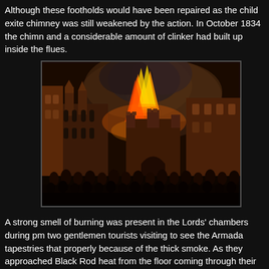Although these footholds would have been repaired as the child exited, the chimney was still weakened by the action. In October 1834 the chimney and a considerable amount of clinker had built up inside the flues.
[Figure (illustration): A dramatic historical painting depicting the burning of the Houses of Parliament in 1834. Westminster Abbey is visible on the left in silhouette, with massive flames and smoke filling the sky. A large crowd of spectators is gathered in the foreground watching the conflagration.]
A strong smell of burning was present in the Lords' chambers during pm two gentlemen tourists visiting to see the Armada tapestries that properly because of the thick smoke. As they approached Black Rod heat from the floor coming through their boots. Shortly after 4:00 pm last few sticks into the furnaces—closing the doors as they did so—a public house.